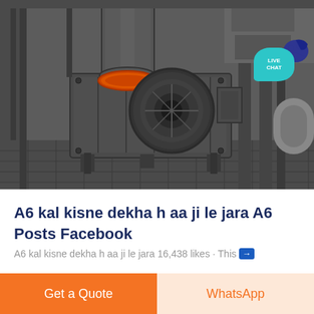[Figure (photo): Industrial centrifugal blower / fan unit with large circular intake duct, orange coupling, mounted on metal frame in an industrial facility. A 'LIVE CHAT' bubble overlay appears in top-right corner.]
A6 kal kisne dekha h aa ji le jara A6 Posts Facebook
A6 kal kisne dekha h aa ji le jara 16,438 likes · This →
Get a Quote
WhatsApp